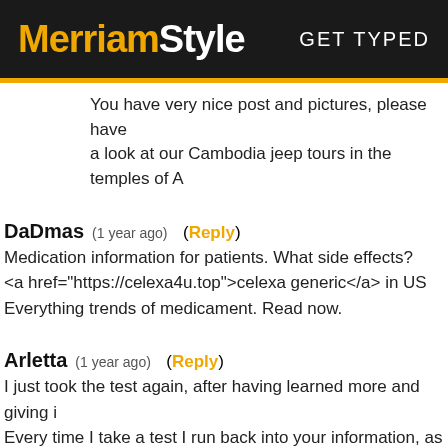MerriamStyle  GET TYPED
You have very nice post and pictures, please have a look at our Cambodia jeep tours in the temples of A
DaDmas  (1 year ago)  (Reply)
Medication information for patients. What side effects?
<a href="https://celexa4u.top">celexa generic</a> in US
Everything trends of medicament. Read now.
Arletta  (1 year ago)  (Reply)
I just took the test again, after having learned more and giving i

Every time I take a test I run back into your information, as I try

My frame is definitely Natural. I have slim hips, broad shoulders

I really think I look best in something approaching classic or jus

I was hoping, quite sincerely, to find out if that is just what I thin

(…)